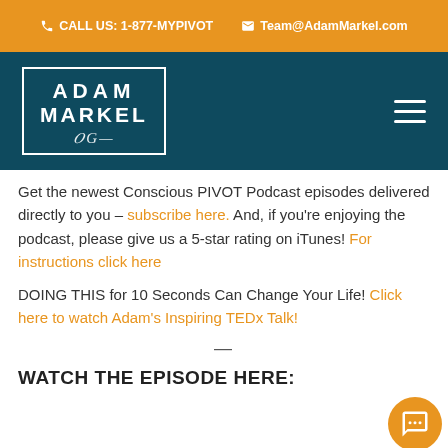CALL US: 1-877-MYPIVOT   Team@AdamMarkel.com
[Figure (logo): Adam Markel logo in white text on dark teal background with border and signature]
Get the newest Conscious PIVOT Podcast episodes delivered directly to you – subscribe here. And, if you're enjoying the podcast, please give us a 5-star rating on iTunes! For instructions click here
DOING THIS for 10 Seconds Can Change Your Life! Click here to watch Adam's Inspiring TEDx Talk!
—
WATCH THE EPISODE HERE: